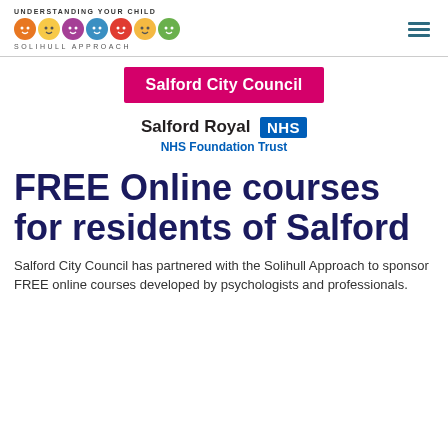[Figure (logo): Understanding Your Child – Solihull Approach logo with colourful cartoon face icons and text]
[Figure (logo): Hamburger menu icon (three horizontal teal lines) in top-right corner]
[Figure (logo): Salford City Council magenta/pink banner logo with white bold text]
[Figure (logo): Salford Royal NHS Foundation Trust logo — black bold text 'Salford Royal', NHS blue badge, blue text 'NHS Foundation Trust']
FREE Online courses for residents of Salford
Salford City Council has partnered with the Solihull Approach to sponsor FREE online courses developed by psychologists and professionals.